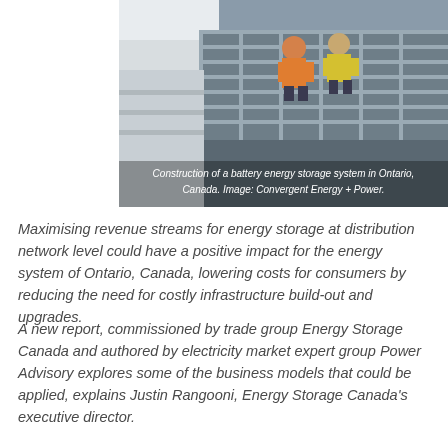[Figure (photo): Construction workers in orange and yellow high-visibility vests working on a battery energy storage system installation. The image shows workers on what appears to be a large industrial site with metal structures.]
Construction of a battery energy storage system in Ontario, Canada. Image: Convergent Energy + Power.
Maximising revenue streams for energy storage at distribution network level could have a positive impact for the energy system of Ontario, Canada, lowering costs for consumers by reducing the need for costly infrastructure build-out and upgrades.
A new report, commissioned by trade group Energy Storage Canada and authored by electricity market expert group Power Advisory explores some of the business models that could be applied, explains Justin Rangooni, Energy Storage Canada's executive director.
As Ontario charts its path to a net-zero economy, it is clear the addition of renewable assets and a rising electricity demand will reshape the province's electricity